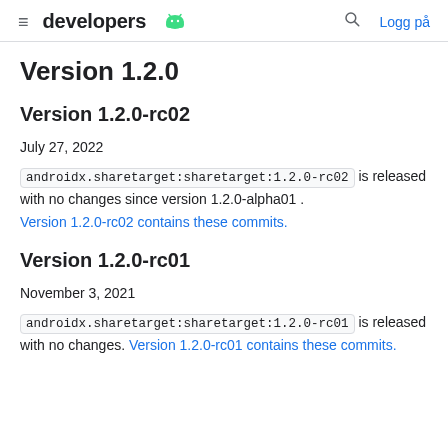developers  [Android logo]  🔍  Logg på
Version 1.2.0
Version 1.2.0-rc02
July 27, 2022
androidx.sharetarget:sharetarget:1.2.0-rc02 is released with no changes since version 1.2.0-alpha01 . Version 1.2.0-rc02 contains these commits.
Version 1.2.0-rc01
November 3, 2021
androidx.sharetarget:sharetarget:1.2.0-rc01 is released with no changes. Version 1.2.0-rc01 contains these commits.